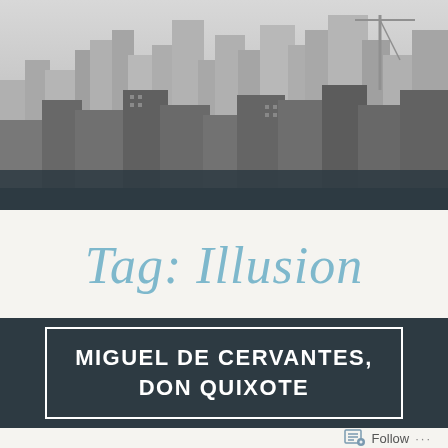[Figure (photo): Black and white aerial cityscape photo showing skyscrapers and urban buildings, likely New York City skyline]
Tag: Illusion
MIGUEL DE CERVANTES, DON QUIXOTE
Follow ...